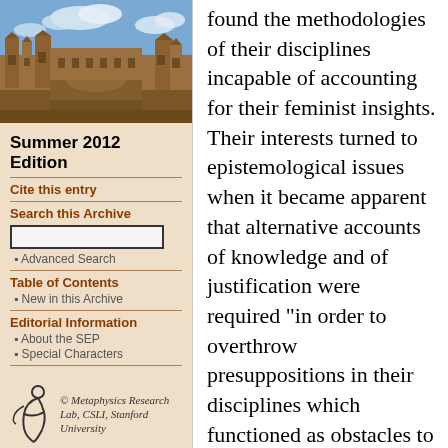[Figure (photo): Photograph of a historic university building with sandstone architecture and blue sky with clouds]
Summer 2012 Edition
Cite this entry
Search this Archive
Table of Contents
New in this Archive
Editorial Information
About the SEP
Special Characters
[Figure (logo): Metaphysics Research Lab, CSLI, Stanford University logo with stylized figure]
found the methodologies of their disciplines incapable of accounting for their feminist insights. Their interests turned to epistemological issues when it became apparent that alternative accounts of knowledge and of justification were required "in order to overthrow presuppositions in their disciplines which functioned as obstacles to necessary change" (Longino 1999, 330).

One of the earliest pieces clearly identifiable as feminist epistemology was Lorraine Code's "Is the Sex of the Knower Epistemically Significant?" appearing in 1981